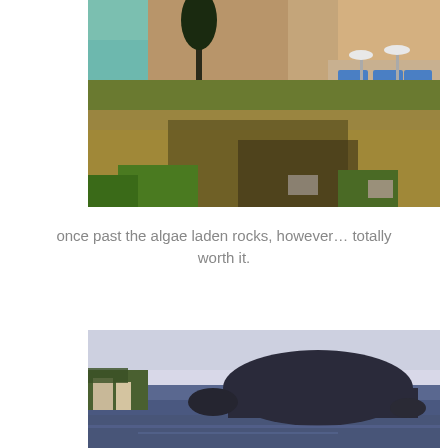[Figure (photo): Aerial view of a rocky Mediterranean hillside with sparse vegetation leading down to a beach area with blue sun loungers and umbrellas, turquoise sea visible in the top left corner]
once past the algae laden rocks, however… totally worth it.
[Figure (photo): Coastal scene with a rocky headland or small island visible in calm deep blue-purple water, with some buildings and trees visible on the left shore under a pale sky]